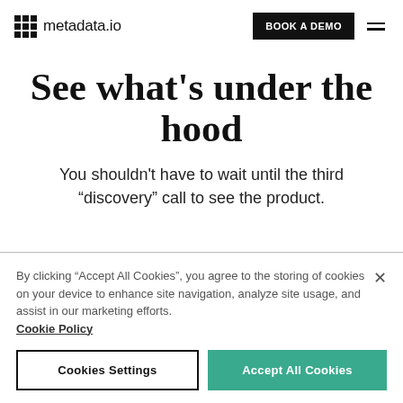metadata.io — BOOK A DEMO
See what's under the hood
You shouldn't have to wait until the third "discovery" call to see the product.
By clicking "Accept All Cookies", you agree to the storing of cookies on your device to enhance site navigation, analyze site usage, and assist in our marketing efforts. Cookie Policy
Cookies Settings
Accept All Cookies